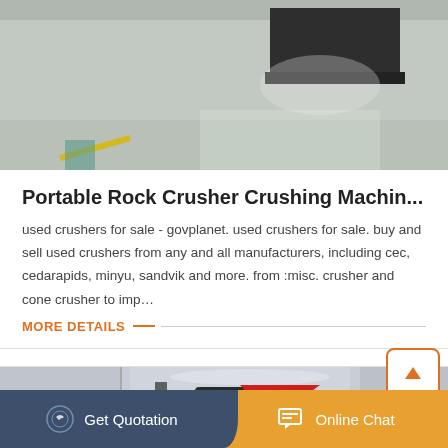[Figure (photo): Industrial factory floor with heavy dark machinery/blocks on a concrete floor, overhead structure visible]
Portable Rock Crusher Crushing Machin...
used crushers for sale - govplanet. used crushers for sale. buy and sell used crushers from any and all manufacturers, including cec, cedarapids, minyu, sandvik and more. from :misc. crusher and cone crusher to imp…
MORE DETAILS
[Figure (photo): Cone crusher machine in industrial setting, black and red heavy machinery]
Get Quotation
Online Chat